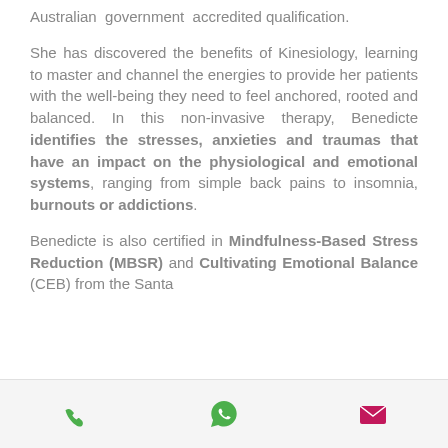Australian government accredited qualification.
She has discovered the benefits of Kinesiology, learning to master and channel the energies to provide her patients with the well-being they need to feel anchored, rooted and balanced. In this non-invasive therapy, Benedicte identifies the stresses, anxieties and traumas that have an impact on the physiological and emotional systems, ranging from simple back pains to insomnia, burnouts or addictions.
Benedicte is also certified in Mindfulness-Based Stress Reduction (MBSR) and Cultivating Emotional Balance (CEB) from the Santa
[Figure (infographic): Mobile app footer bar with three icons: green phone icon, green WhatsApp icon, and magenta/pink email envelope icon]